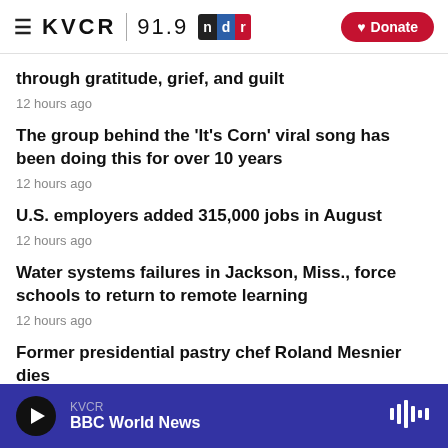KVCR 91.9 NPR | Donate
through gratitude, grief, and guilt
12 hours ago
The group behind the 'It's Corn' viral song has been doing this for over 10 years
12 hours ago
U.S. employers added 315,000 jobs in August
12 hours ago
Water systems failures in Jackson, Miss., force schools to return to remote learning
12 hours ago
Former presidential pastry chef Roland Mesnier dies
KVCR | BBC World News